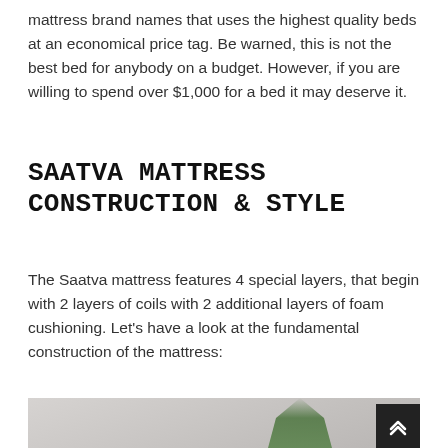mattress brand names that uses the highest quality beds at an economical price tag. Be warned, this is not the best bed for anybody on a budget. However, if you are willing to spend over $1,000 for a bed it may deserve it.
SAATVA MATTRESS CONSTRUCTION & STYLE
The Saatva mattress features 4 special layers, that begin with 2 layers of coils with 2 additional layers of foam cushioning. Let's have a look at the fundamental construction of the mattress:
[Figure (photo): Photograph of a white mattress/bedding with a green palm plant in the background against a light grey wall. A dark scroll-to-top button is visible in the bottom right corner.]